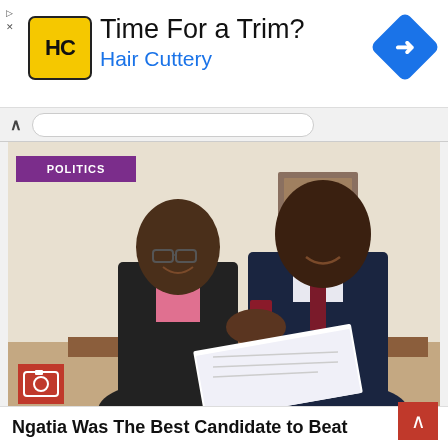[Figure (advertisement): Hair Cuttery advertisement banner with yellow HC logo, text 'Time For a Trim?' and 'Hair Cuttery' in blue, and blue diamond navigation icon]
[Figure (photo): Two men shaking hands and exchanging documents in an office setting. Left man wears a black jacket over pink checked shirt with glasses. Right man wears a dark navy suit with maroon tie and pocket square. A purple 'POLITICS' badge overlays the top-left. A red camera icon badge is in the bottom-left corner.]
Ngatia Was The Best Candidate to Beat